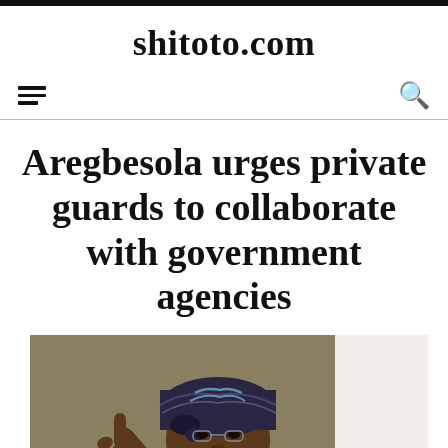shitoto.com
Aregbesola urges private guards to collaborate with government agencies
[Figure (photo): Photo of a man wearing a traditional Nigerian head wrap (agbada cap), pointing with one finger, with an olive/brown background]